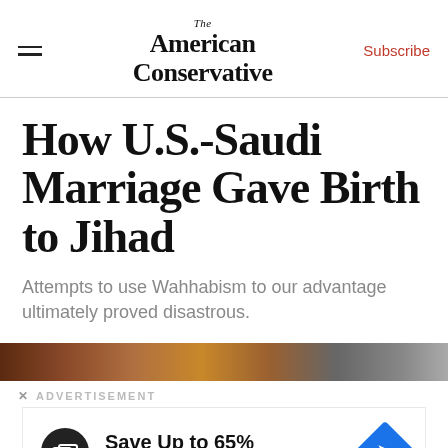The American Conservative | Subscribe
How U.S.-Saudi Marriage Gave Birth to Jihad
Attempts to use Wahhabism to our advantage ultimately proved disastrous.
[Figure (photo): Partial view of an article image, brown/earthy tones, partially obscured by advertisement overlay]
ADVERTISEMENT
[Figure (infographic): Advertisement for Leesburg Premium Outlets: Save Up to 65%. Features a black circular icon with overlapping rectangles, a blue diamond arrow icon, and the text 'Save Up to 65% Leesburg Premium Outlets']